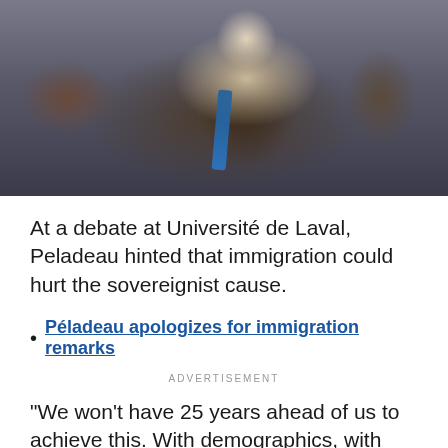[Figure (photo): A man in a dark jacket with a blue lanyard, sitting at what appears to be a debate or conference, with hands clasped near his face.]
At a debate at Université de Laval, Peladeau hinted that immigration could hurt the sovereignist cause.
Péladeau apologizes for immigration remarks
ADVERTISEMENT
"We won't have 25 years ahead of us to achieve this. With demographics, with immigration, it's clear that we're losing one riding a year," Péladeau said. These